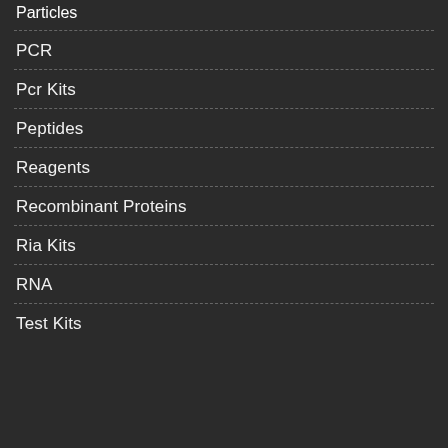Particles
PCR
Pcr Kits
Peptides
Reagents
Recombinant Proteins
Ria Kits
RNA
Test Kits